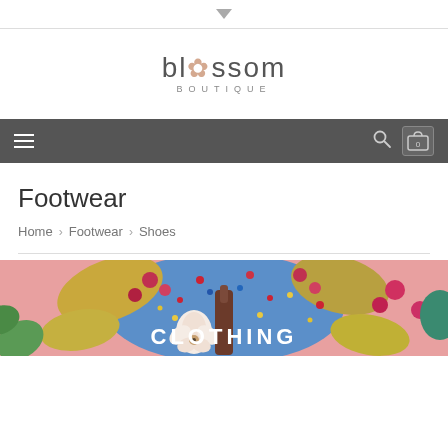[Figure (logo): Blossom Boutique logo with flower icon replacing the 'o' in blossom, subtitle BOUTIQUE]
Navigation bar with hamburger menu, search icon, and cart (0)
Footwear
Home > Footwear > Shoes
[Figure (illustration): Colorful floral boutique banner with text CLOTHING]